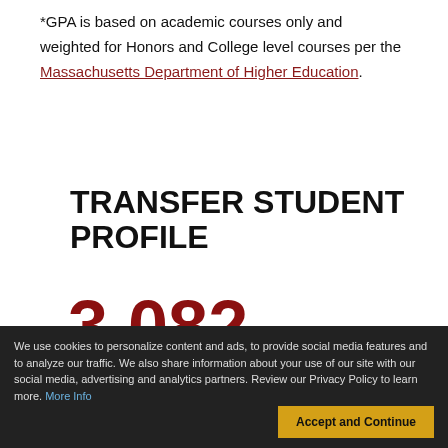*GPA is based on academic courses only and weighted for Honors and College level courses per the Massachusetts Department of Higher Education.
TRANSFER STUDENT PROFILE
3,082
Transfer Applications
We use cookies to personalize content and ads, to provide social media features and to analyze our traffic. We also share information about your use of our site with our social media, advertising and analytics partners. Review our Privacy Policy to learn more. More Info
Accept and Continue